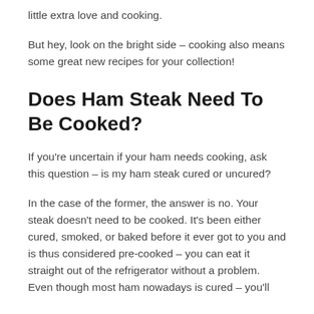little extra love and cooking.
But hey, look on the bright side – cooking also means some great new recipes for your collection!
Does Ham Steak Need To Be Cooked?
If you're uncertain if your ham needs cooking, ask this question – is my ham steak cured or uncured?
In the case of the former, the answer is no. Your steak doesn't need to be cooked. It's been either cured, smoked, or baked before it ever got to you and is thus considered pre-cooked – you can eat it straight out of the refrigerator without a problem. Even though most ham nowadays is cured – you'll